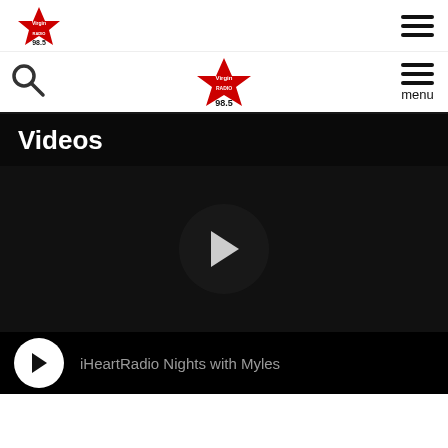Virgin Radio 98.5 - top navigation bar with logo and hamburger menu
Virgin Radio 98.5 - secondary navigation with search, logo, and menu
Videos
[Figure (screenshot): Dark video player with large circular play button in center]
iHeartRadio Nights with Myles